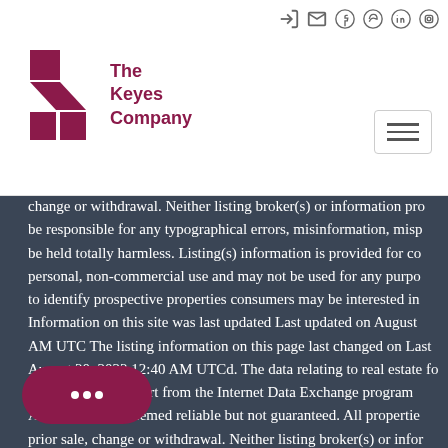[Figure (logo): The Keyes Company logo — stylized K in dark red/maroon with text 'The Keyes Company']
Social media icons (login, email, facebook, twitter, linkedin, instagram) and hamburger menu
change or withdrawal. Neither listing broker(s) or information pro be responsible for any typographical errors, misinformation, misp be held totally harmless. Listing(s) information is provided for co personal, non-commercial use and may not be used for any purp to identify prospective properties consumers may be interested i Information on this site was last updated Last updated on Augus AM UTC The listing information on this page last changed on Las August 20, 2022 12:40 AM UTCd. The data relating to real estate f website comes in part from the Internet Data Exchange program All information deemed reliable but not guaranteed. All propertie prior sale, change or withdrawal. Neither listing broker(s) or info hall be responsible for any typographical errors, misin d shall be held totally harmless. Listing(s) informatio for consumers personal, non-commercial use and may not be